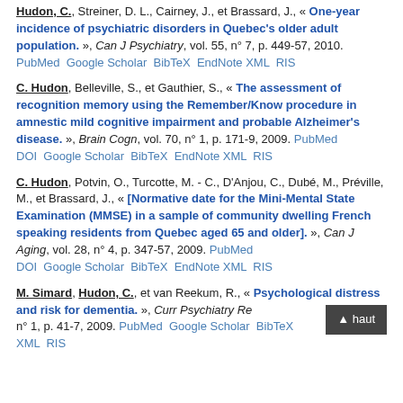Hudon, C., Streiner, D. L., Cairney, J., et Brassard, J., « One-year incidence of psychiatric disorders in Quebec's older adult population. », Can J Psychiatry, vol. 55, n° 7, p. 449-57, 2010. PubMed Google Scholar BibTeX EndNote XML RIS
C. Hudon, Belleville, S., et Gauthier, S., « The assessment of recognition memory using the Remember/Know procedure in amnestic mild cognitive impairment and probable Alzheimer's disease. », Brain Cogn, vol. 70, n° 1, p. 171-9, 2009. PubMed DOI Google Scholar BibTeX EndNote XML RIS
C. Hudon, Potvin, O., Turcotte, M. - C., D'Anjou, C., Dubé, M., Préville, M., et Brassard, J., « [Normative date for the Mini-Mental State Examination (MMSE) in a sample of community dwelling French speaking residents from Quebec aged 65 and older]. », Can J Aging, vol. 28, n° 4, p. 347-57, 2009. PubMed DOI Google Scholar BibTeX EndNote XML RIS
M. Simard, Hudon, C., et van Reekum, R., « Psychological distress and risk for dementia. », Curr Psychiatry Rep, n° 1, p. 41-7, 2009. PubMed Google Scholar BibTeX EndNote XML RIS